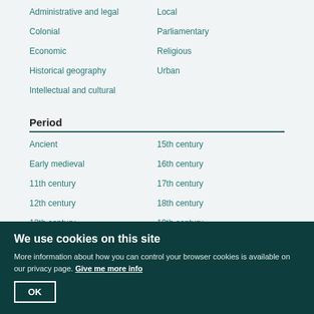Administrative and legal
Local
Colonial
Parliamentary
Economic
Religious
Historical geography
Urban
Intellectual and cultural
Period
Ancient
15th century
Early medieval
16th century
11th century
17th century
12th century
18th century
13th century
19th century
14th century
20th century
We use cookies on this site
More information about how you can control your browser cookies is available on our privacy page. Give me more info
OK